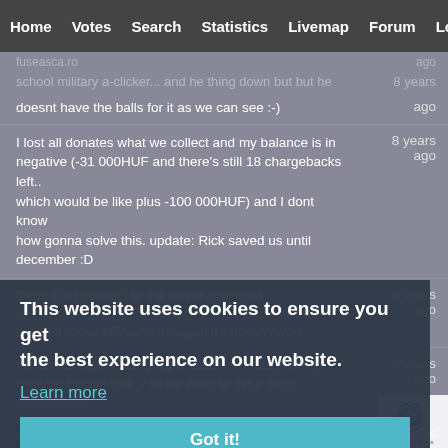Home  Votes  Search  Statistics  Livemap  Forum  Login
doesnt have the balls for it as we can see :-)
I lost all donates what we collect and my balance is in negative (-31 000HUF and there's still 18 chargebacks left.. which would be like plus -100 000HUF) and I dont know how gonna solve this. update: Rick saved us until december :D
8 years ago
If you can't connect to the server download http://s2.gtasa.eu/www/gtoconnect4.rar and run it to connect. close MTA and try again if it doesn't work.
8 years ago
the server experiencing lag because the rats (munir) chewing the network :/ so we need to get a good disinfestanter
8 years ago
Got it!
sorry for the lag but nibluerat attack the server again
8 years ago
some cockroach tries to copy our server (munir) but they
8 years